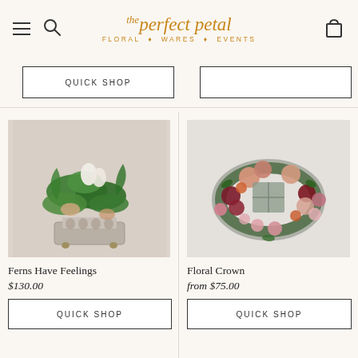the perfect petal FLORAL • WARES • EVENTS
[Figure (photo): Ferns Have Feelings floral arrangement: lush green ferns with white lilies and peach accents in a decorative silver footed planter on a beige background]
Ferns Have Feelings
$130.00
[Figure (photo): Floral Crown: a circular flower crown with peach roses, dark red flowers, pink blooms, and greenery on a white background]
Floral Crown
from $75.00